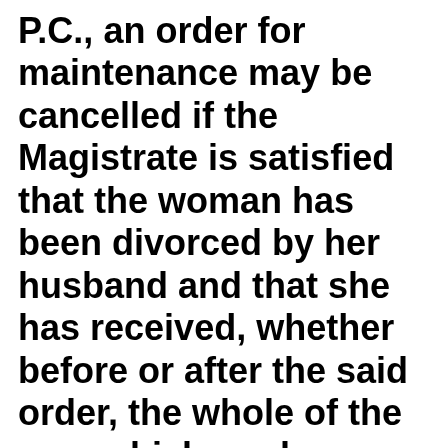P.C., an order for maintenance may be cancelled if the Magistrate is satisfied that the woman has been divorced by her husband and that she has received, whether before or after the said order, the whole of the sum which, under any customary or personal law applicable to the parties was payable on such divorce. Therefore, even by harmonising a courts under